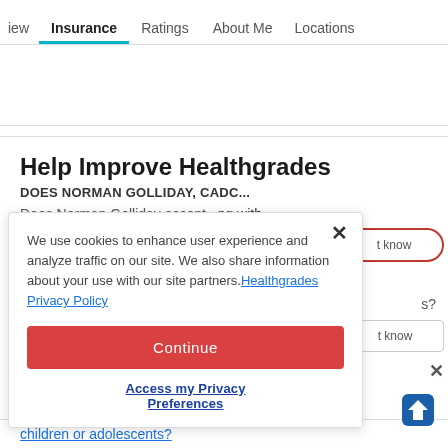iew  Insurance  Ratings  About Me  Locations
Help Improve Healthgrades
DOES NORMAN GOLLIDAY, CADC...
Does Norman Golliday accept...ing with
We use cookies to enhance user experience and analyze traffic on our site. We also share information about your use with our site partners. Healthgrades Privacy Policy
Continue
Access my Privacy Preferences
t know
s?
t know
children or adolescents?